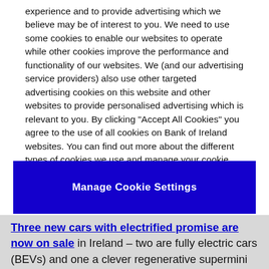experience and to provide advertising which we believe may be of interest to you. We need to use some cookies to enable our websites to operate while other cookies improve the performance and functionality of our websites. We (and our advertising service providers) also use other targeted advertising cookies on this website and other websites to provide personalised advertising which is relevant to you. By clicking "Accept All Cookies" you agree to the use of all cookies on Bank of Ireland websites. You can find out more about the different types of cookies we use and manage your cookie settings on this website by clicking "Manage Cookie Settings". To find out more about how we use cookies please read our cookies policy.
Manage Cookie Settings
Three new cars with electrified promise are now on sale in Ireland – two are fully electric cars (BEVs) and one a clever regenerative supermini and all are vying strongly